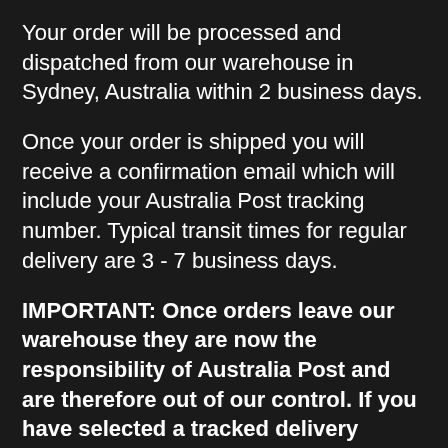Your order will be processed and dispatched from our warehouse in Sydney, Australia within 2 business days.
Once your order is shipped you will receive a confirmation email which will include your Australia Post tracking number. Typical transit times for regular delivery are 3 - 7 business days.
IMPORTANT: Once orders leave our warehouse they are now the responsibility of Australia Post and are therefore out of our control. If you have selected a tracked delivery option at checkout you will receive correspondence not only from us, but also Australia Post with your tracking information.
Please note - we cannot be responsible for packages that are left unattended by Australia Post. Once an item has been delivered it is not our responsibility anymore.